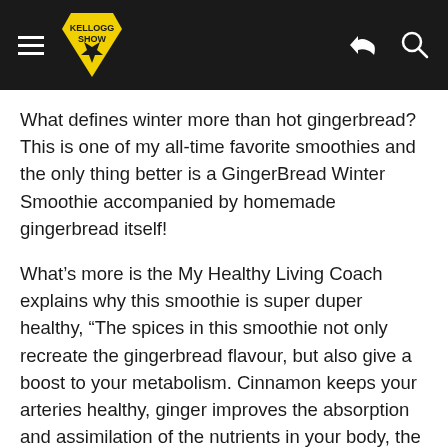Kellogg Show
What defines winter more than hot gingerbread? This is one of my all-time favorite smoothies and the only thing better is a GingerBread Winter Smoothie accompanied by homemade gingerbread itself!
What’s more is the My Healthy Living Coach explains why this smoothie is super duper healthy, “The spices in this smoothie not only recreate the gingerbread flavour, but also give a boost to your metabolism. Cinnamon keeps your arteries healthy, ginger improves the absorption and assimilation of the nutrients in your body, the cloves reduce inflammation and cardamom helps detox the kidneys. Bring them all together and you have a powerful